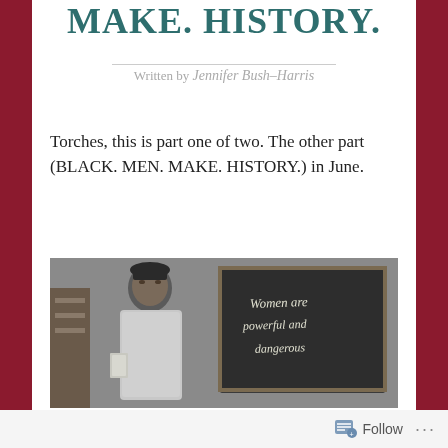MAKE. HISTORY.
Written by Jennifer Bush–Harris
Torches, this is part one of two. The other part (BLACK. MEN. MAKE. HISTORY.) in June.
[Figure (photo): Black and white photograph of a woman standing in front of a chalkboard that reads 'Women are powerful and dangerous']
Follow ...